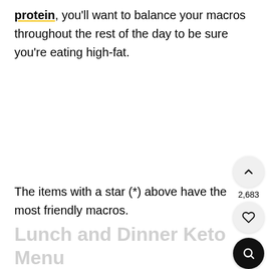protein, you'll want to balance your macros throughout the rest of the day to be sure you're eating high-fat.
The items with a star (*) above have the most friendly macros.
Lunch and Dinner Keto Menu